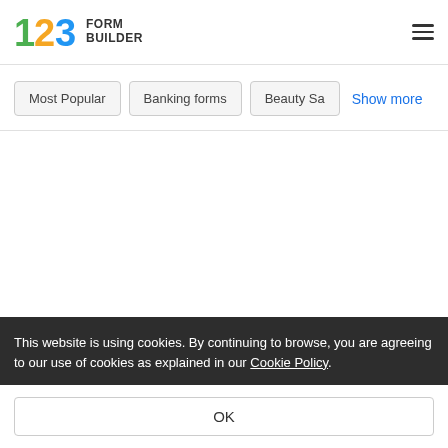123 FORM BUILDER
Most Popular
Banking forms
Beauty Sa
Show more
This website is using cookies. By continuing to browse, you are agreeing to our use of cookies as explained in our Cookie Policy.
OK